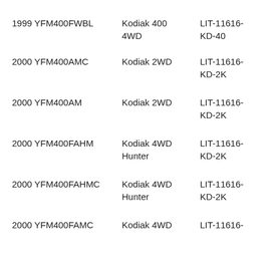| 1999 YFM400FWBL | Kodiak 400 4WD | LIT-11616-KD-40 |
| 2000 YFM400AMC | Kodiak 2WD | LIT-11616-KD-2K |
| 2000 YFM400AM | Kodiak 2WD | LIT-11616-KD-2K |
| 2000 YFM400FAHM | Kodiak 4WD Hunter | LIT-11616-KD-2K |
| 2000 YFM400FAHMC | Kodiak 4WD Hunter | LIT-11616-KD-2K |
| 2000 YFM400FAMC | Kodiak 4WD | LIT-11616- |